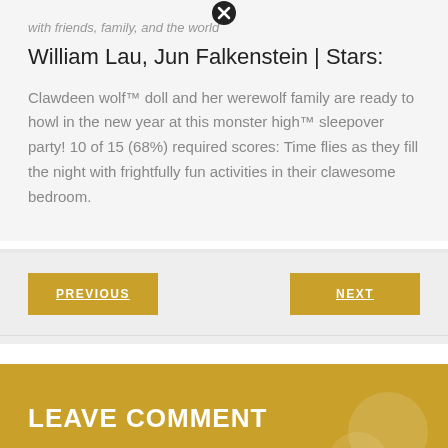with friends, family, and the world
William Lau, Jun Falkenstein | Stars:
Clawdeen wolf™ doll and her werewolf family are ready to howl in the new year at this monster high™ sleepover party! 10 of 15 (68%) required scores: Time flies as they fill the night with frightfully fun activities in their clawesome bedroom.
PREVIOUS
NEXT
LEAVE COMMENT